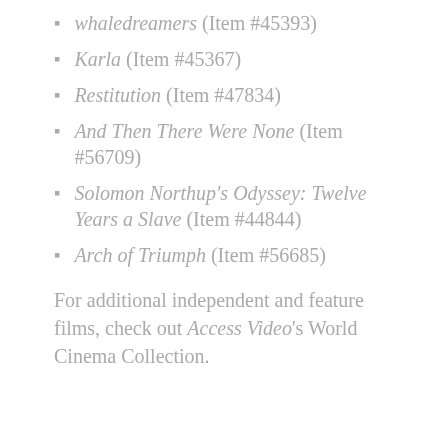whaledreamers (Item #45393)
Karla (Item #45367)
Restitution (Item #47834)
And Then There Were None (Item #56709)
Solomon Northup's Odyssey: Twelve Years a Slave (Item #44844)
Arch of Triumph (Item #56685)
For additional independent and feature films, check out Access Video's World Cinema Collection.